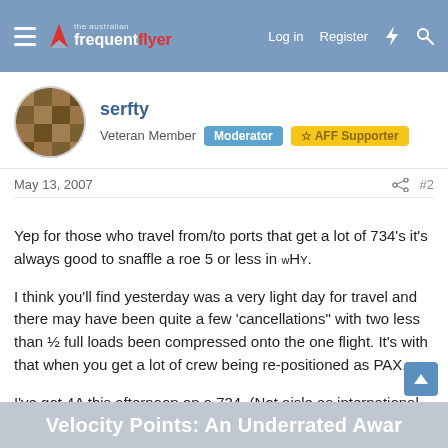the australian frequent flyer | Log in  Register
serfty
Veteran Member  Moderator  ☆ AFF Supporter
May 13, 2007   #2
Yep for those who travel from/to ports that get a lot of 734's it's always good to snaffle a roe 5 or less in wHY.

I think you'll find yesterday was a very light day for travel and there may have been quite a few 'cancellations" with two less than ½ full loads been compressed onto the one flight. It's with that when you get a lot of crew being re-positioned as PAX.

I've got 4A this afternoon on a 734. (Not aisle as international cnx and my window international profile was used).
Velocity Points: An Underrated Awar